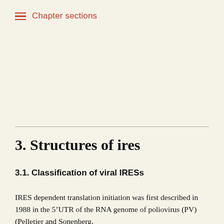Chapter sections
3. Structures of ires
3.1. Classification of viral IRESs
IRES dependent translation initiation was first described in 1988 in the 5’UTR of the RNA genome of poliovirus (PV) (Pelletier and Sonenberg,